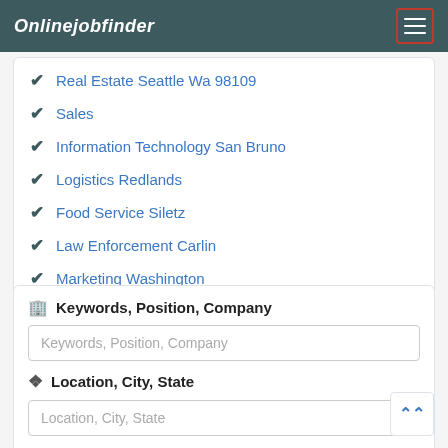Onlinejobfinder
Real Estate Seattle Wa 98109
Sales
Information Technology San Bruno
Logistics Redlands
Food Service Siletz
Law Enforcement Carlin
Marketing Washington
Human Resources Spring Valley Ny 10977
Keywords, Position, Company
Keywords, Position, Company (input placeholder)
Location, City, State
Location, City, State (input placeholder)